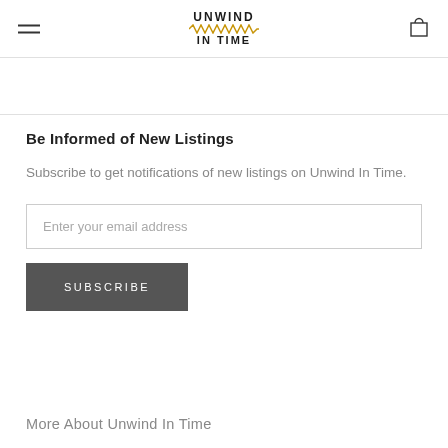UNWIND IN TIME
Be Informed of New Listings
Subscribe to get notifications of new listings on Unwind In Time.
Enter your email address
SUBSCRIBE
More About Unwind In Time